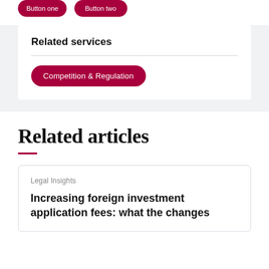Related services
Competition & Regulation
Related articles
Legal Insights
Increasing foreign investment application fees: what the changes